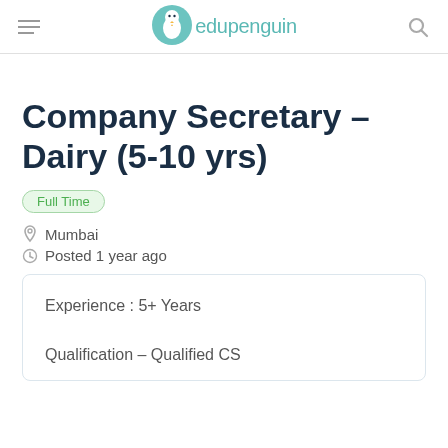edupenguin
Company Secretary – Dairy (5-10 yrs)
Full Time
Mumbai
Posted 1 year ago
Experience : 5+ Years
Qualification – Qualified CS